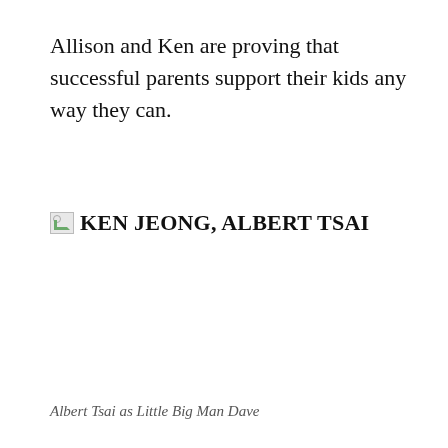Allison and Ken are proving that successful parents support their kids any way they can.
[Figure (photo): Broken image placeholder with label KEN JEONG, ALBERT TSAI]
Albert Tsai as Little Big Man Dave